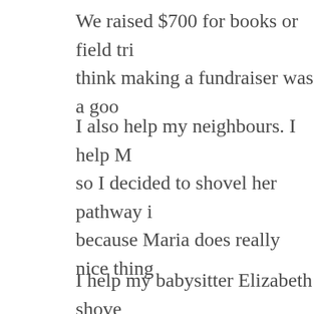We raised $700 for books or field tri... think making a fundraiser was a goo...
I also help my neighbours. I help Ma... so I decided to shovel her pathway i... because Maria does really nice thing...
I help my babysitter Elizabeth shove... money, I gave the money to SickKid... other neighbour's yard.
In the same time I did a lemonade st... the money went to SickKids and the...
I also help my mom do the spring cl... gloves for the clean-up and the garba... up. And when you are done you go a... takes it away.
I helped Scott Mission when my cl...